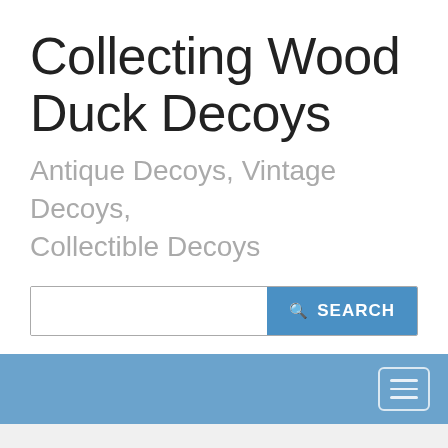Collecting Wood Duck Decoys
Antique Decoys, Vintage Decoys, Collectible Decoys
[Figure (screenshot): Search bar with text input field and blue SEARCH button with magnifying glass icon]
[Figure (screenshot): Blue navigation bar with hamburger menu icon (three horizontal lines) on the right side]
White
Collecting Wood Duck Decoys - Antique Decoys, Vintage Decoys, Collectible Decoys Featuring a list of white for sale...